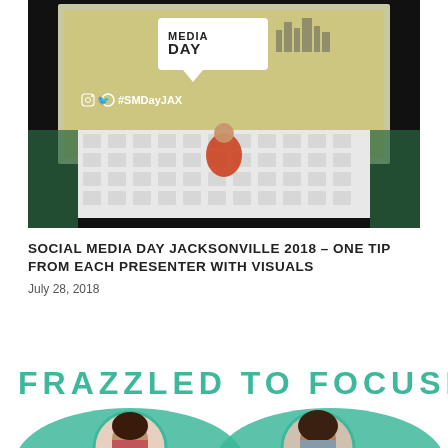[Figure (photo): A woman in a red dress standing in front of a sponsor step-and-repeat banner at Social Media Day Jacksonville 2018 event. Behind her is a large projection screen showing the text 'MEDIA DAY' and '#SMDayJAX'.]
SOCIAL MEDIA DAY JACKSONVILLE 2018 – ONE TIP FROM EACH PRESENTER WITH VISUALS
July 28, 2018
[Figure (infographic): Infographic with teal bold text reading 'FRAZZLED TO FOCUSED' and two circular portrait photos of women at the bottom, set against a teal wave background.]